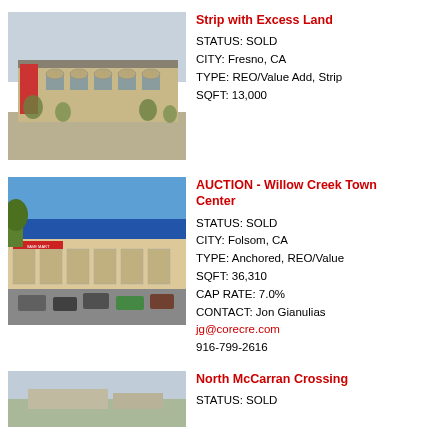Strip with Excess Land
STATUS: SOLD
CITY: Fresno, CA
TYPE: REO/Value Add, Strip
SQFT: 13,000
[Figure (photo): Exterior photo of a strip retail building with modern facade in Fresno, CA]
AUCTION - Willow Creek Town Center
STATUS: SOLD
CITY: Folsom, CA
TYPE: Anchored, REO/Value
SQFT: 36,310
CAP RATE: 7.0%
CONTACT: Jon Gianulias
jg@corecre.com
916-799-2616
[Figure (photo): Exterior photo of a grocery-anchored shopping center with blue roof and parking lot in Folsom, CA]
North McCarran Crossing
STATUS: SOLD
[Figure (photo): Aerial/exterior photo of North McCarran Crossing property (partially visible)]